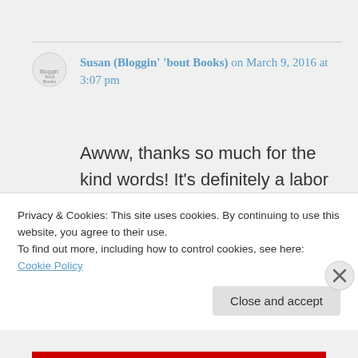Susan (Bloggin' 'bout Books) on March 9, 2016 at 3:07 pm
Awww, thanks so much for the kind words! It's definitely a labor of love, but I absolutely adore book blogging. It's been a fun ride and I've had lots of great experiences because of it!
Privacy & Cookies: This site uses cookies. By continuing to use this website, you agree to their use. To find out more, including how to control cookies, see here: Cookie Policy
Close and accept